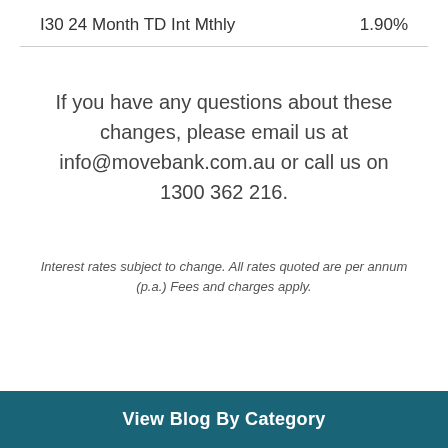| Product | Rate |
| --- | --- |
| I30 24 Month TD Int Mthly | 1.90% |
If you have any questions about these changes, please email us at info@movebank.com.au or call us on 1300 362 216.
Interest rates subject to change. All rates quoted are per annum (p.a.) Fees and charges apply.
View Blog By Category